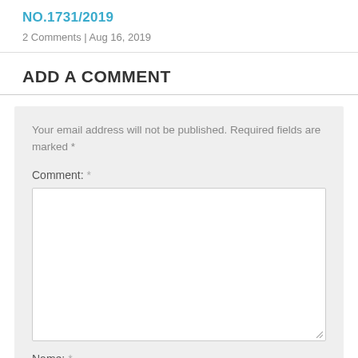NO.1731/2019
2 Comments | Aug 16, 2019
ADD A COMMENT
Your email address will not be published. Required fields are marked *
Comment: *
Name: *